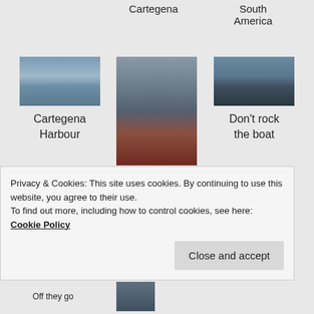Cartegena
South America
[Figure (photo): Cartegena Harbour - sailboats and city skyline on water]
Cartegena Harbour
[Figure (photo): Person dangling over the ocean from a boat]
[Figure (photo): Person on inflatable boat on water - Don't rock the boat]
Don't rock the boat
Dangling over the ocean
Privacy & Cookies: This site uses cookies. By continuing to use this website, you agree to their use.
To find out more, including how to control cookies, see here:
Cookie Policy
Close and accept
[Figure (photo): Small thumbnail photo at bottom of page]
Off they go